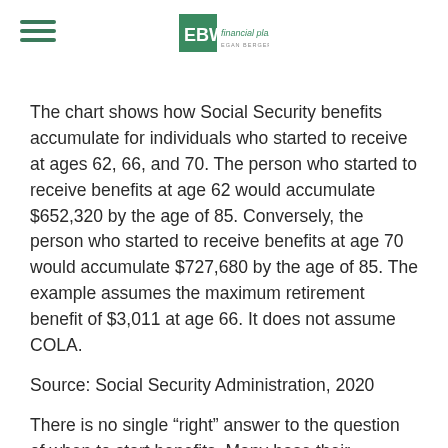EBW financial planning — EGAN BERGER & WEINER
The chart shows how Social Security benefits accumulate for individuals who started to receive at ages 62, 66, and 70. The person who started to receive benefits at age 62 would accumulate $652,320 by the age of 85. Conversely, the person who started to receive benefits at age 70 would accumulate $727,680 by the age of 85. The example assumes the maximum retirement benefit of $3,011 at age 66. It does not assume COLA.
Source: Social Security Administration, 2020
There is no single “right” answer to the question of when to start benefits. Many base their decision on family considerations, economic circumstances, and personal preferences.